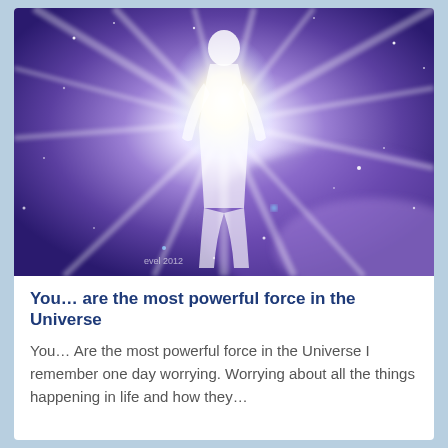[Figure (illustration): A glowing humanoid silhouette emitting radiant light beams against a cosmic purple and blue background with stars and nebula clouds. A watermark reads 'evel 2012' in the lower left corner.]
You... are the most powerful force in the Universe
You… Are the most powerful force in the Universe I remember one day worrying. Worrying about all the things happening in life and how they…